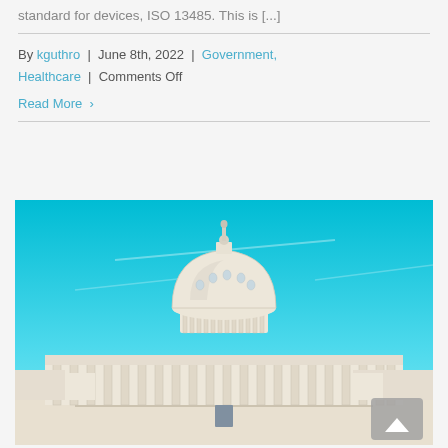standard for devices, ISO 13485. This is [...]
By kguthro | June 8th, 2022 | Government, Healthcare | Comments Off
Read More >
[Figure (photo): Photo of the United States Capitol building with a bright blue sky background]